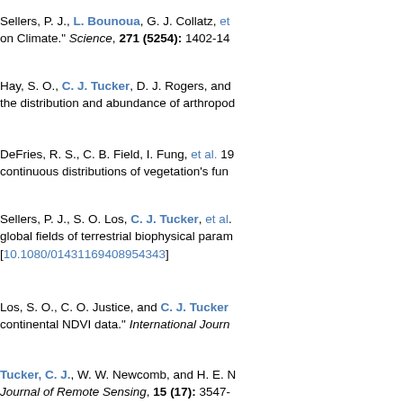Sellers, P. J., L. Bounoua, G. J. Collatz, et al. ... on Climate." Science, 271 (5254): 1402-14...
Hay, S. O., C. J. Tucker, D. J. Rogers, and ... the distribution and abundance of arthropod...
DeFries, R. S., C. B. Field, I. Fung, et al. 19... continuous distributions of vegetation's fun...
Sellers, P. J., S. O. Los, C. J. Tucker, et al. ... global fields of terrestrial biophysical param... [10.1080/01431169408954343]
Los, S. O., C. O. Justice, and C. J. Tucker ... continental NDVI data." International Journ...
Tucker, C. J., W. W. Newcomb, and H. E. N... Journal of Remote Sensing, 15 (17): 3547-...
Sellers, P. J., P. J. Berry, G. J. Collatz, et al. ... on Global Scales." Proceedings of AMS Co...
Skole, D., and C. J. Tucker. 1993. "Eviden... Brazilian Amazon:1978-1988." Science, 26...
Wallin, D. O., C. H. Elliott, H. H. Shugart, C... African weaver-bird." Landscape Ecology, ...
Tucker, C. J. 1992. "Relating SMMR 37 GH... reappraisal." International Journal of Remo...